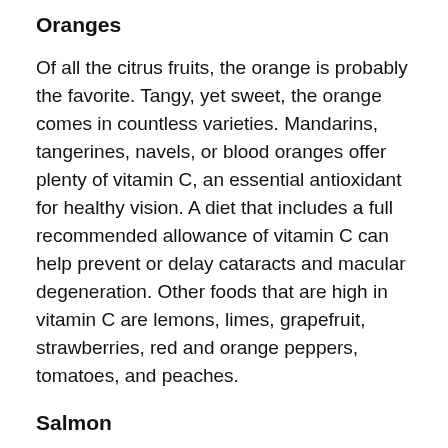Oranges
Of all the citrus fruits, the orange is probably the favorite. Tangy, yet sweet, the orange comes in countless varieties. Mandarins, tangerines, navels, or blood oranges offer plenty of vitamin C, an essential antioxidant for healthy vision. A diet that includes a full recommended allowance of vitamin C can help prevent or delay cataracts and macular degeneration. Other foods that are high in vitamin C are lemons, limes, grapefruit, strawberries, red and orange peppers, tomatoes, and peaches.
Salmon
Salmon, as well as tuna, mackerel, anchovies,